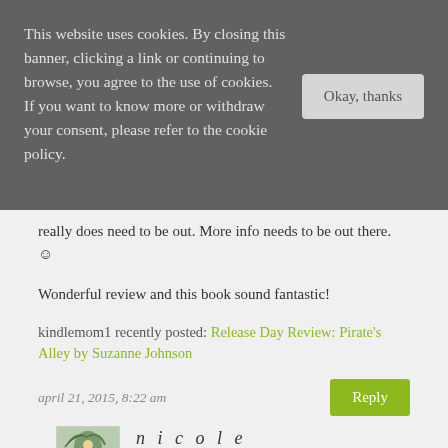This website uses cookies. By closing this banner, clicking a link or continuing to browse, you agree to the use of cookies. If you want to know more or withdraw your consent, please refer to the cookie policy.
really does need to be out. More info needs to be out there. ☺
Wonderful review and this book sound fantastic!
kindlemom1 recently posted: Release Day Review: Pirate's Alley by Suzanne Johnson
april 21, 2015, 8:22 am
nicole
Totally agree!